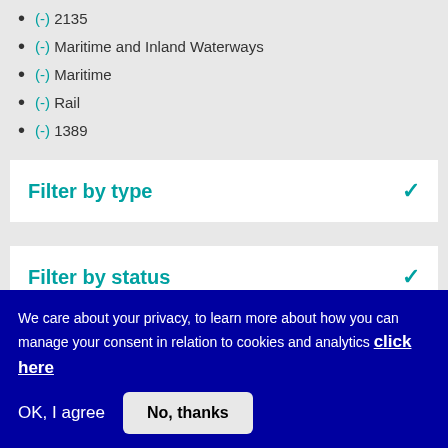(-) 2135
(-) Maritime and Inland Waterways
(-) Maritime
(-) Rail
(-) 1389
Filter by type
Filter by status
We care about your privacy, to learn more about how you can manage your consent in relation to cookies and analytics click here
OK, I agree
No, thanks